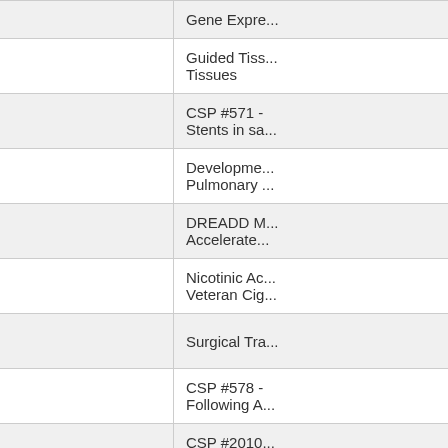| Award Number | Title |
| --- | --- |
| 01A2 | Gene Expre... |
| I01BX000418-04 | Guided Tiss... Tissues |
| 571 | CSP #571 - Stents in sa... |
| I01BX002504-01 | Developme... Pulmonary ... |
| I21RX002708-01 | DREADD M... Accelerate... |
| I01CX000412-01A2 | Nicotinic Ac... Veteran Cig... |
| I01BX003882-01A1 | Surgical Tra... |
| 578 | CSP #578 - Following A... |
| 2010 | CSP #2010... Oncology P... |
| I01RX001995-01A1 | Impact of a... after Discha... |
| I01BX001356-05 | Sleep Spiri... |